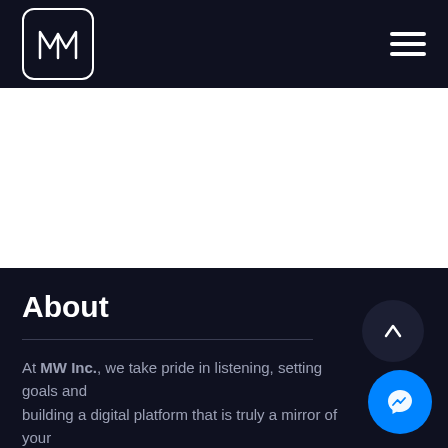MW Inc. navigation header with logo and hamburger menu
[Figure (screenshot): White empty content area section]
About
At MW Inc., we take pride in listening, setting goals and building a digital platform that is truly a mirror of your brand. Innovating strategies that help you achieve your